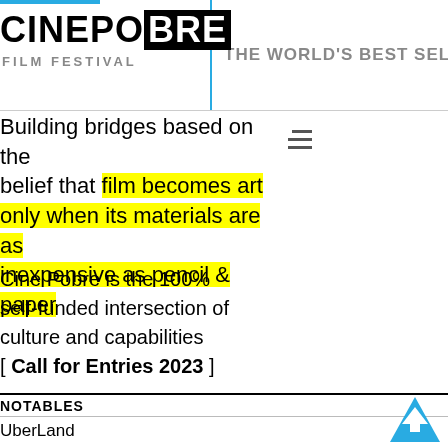CINEPOBRE FILM FESTIVAL | THE WORLD'S BEST SELF
Building bridges based on the belief that film becomes art only when its materials are as inexpensive as pencil & paper
Cine Pobre is the 100% self-funded intersection of culture and capabilities [ Call for Entries 2023 ]
NOTABLES
UberLand
La Trampa
La Descorrupcion
Strictly Professional
Start Up a War
The Caramel Corn Riot